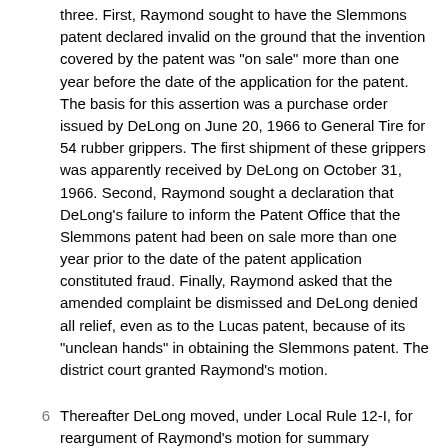three. First, Raymond sought to have the Slemmons patent declared invalid on the ground that the invention covered by the patent was "on sale" more than one year before the date of the application for the patent. The basis for this assertion was a purchase order issued by DeLong on June 20, 1966 to General Tire for 54 rubber grippers. The first shipment of these grippers was apparently received by DeLong on October 31, 1966. Second, Raymond sought a declaration that DeLong's failure to inform the Patent Office that the Slemmons patent had been on sale more than one year prior to the date of the patent application constituted fraud. Finally, Raymond asked that the amended complaint be dismissed and DeLong denied all relief, even as to the Lucas patent, because of its "unclean hands" in obtaining the Slemmons patent. The district court granted Raymond's motion.
Thereafter DeLong moved, under Local Rule 12-I, for reargument of Raymond's motion for summary judgment, to vacate the district court's order, and for an order denying Raymond's motion, under Fed.R.Civ.P. 52(b).2 The court, however, denied this motion. DeLong raises several arguments on appeal.3 First, it asserts that the district court abused its discretion in denying DeLong's motion